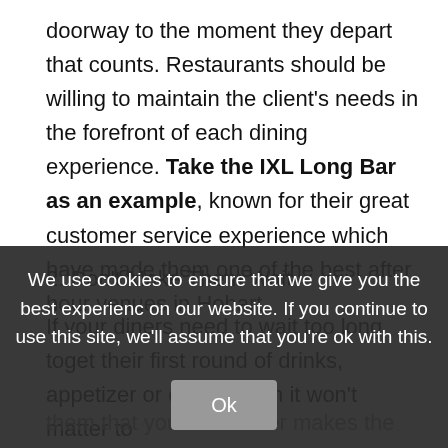doorway to the moment they depart that counts. Restaurants should be willing to maintain the client's needs in the forefront of each dining experience. Take the IXL Long Bar as an example, known for their great customer service experience which have made them one of the best after hour venues in Hobart.
2. Don't Make Them Wait
If your diners need to wait too long toget their first round of drinks, appetizer or dinner, then it won't matter to them that your bartender makes the best martini or even the chef prepared the very best beer. Your diner is annoyed and famished.
It is possible to call this the tipping point. Bear in mind it may be tough to win your frustrated customer. Keep away from disappointing them...
We use cookies to ensure that we give you the best experience on our website. If you continue to use this site, we'll assume that you're ok with this.